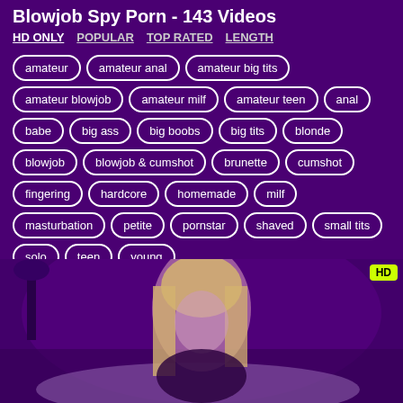Blowjob Spy Porn - 143 Videos
HD ONLY | POPULAR | TOP RATED | LENGTH
amateur
amateur anal
amateur big tits
amateur blowjob
amateur milf
amateur teen
anal
babe
big ass
big boobs
big tits
blonde
blowjob
blowjob & cumshot
brunette
cumshot
fingering
hardcore
homemade
milf
masturbation
petite
pornstar
shaved
small tits
solo
teen
young
[Figure (photo): Video thumbnail showing a blonde woman with HD badge overlay, purple-tinted background]